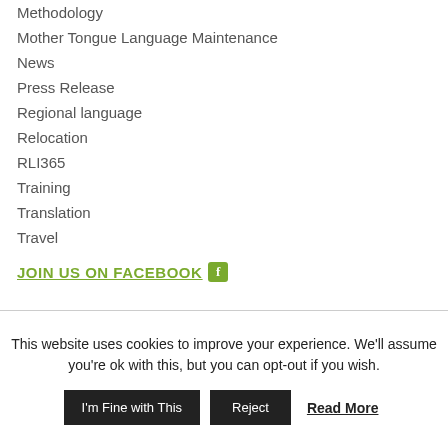Methodology
Mother Tongue Language Maintenance
News
Press Release
Regional language
Relocation
RLI365
Training
Translation
Travel
JOIN US ON FACEBOOK
This website uses cookies to improve your experience. We'll assume you're ok with this, but you can opt-out if you wish.